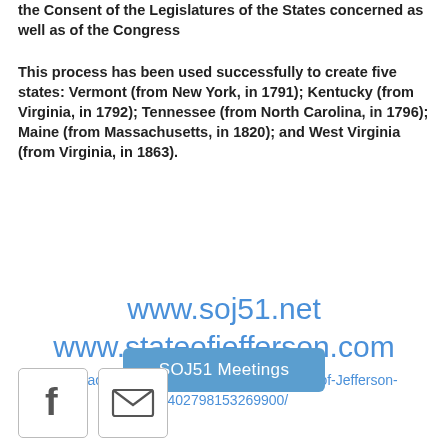the Consent of the Legislatures of the States concerned as well as of the Congress
This process has been used successfully to create five states: Vermont (from New York, in 1791); Kentucky (from Virginia, in 1792); Tennessee (from North Carolina, in 1796); Maine (from Massachusetts, in 1820); and West Virginia (from Virginia, in 1863).
www.soj51.net
www.stateofjefferson.com
www.facebook.com/Coos-County-for-State-of-Jefferson-1402798153269900/
SOJ51 Meetings
[Figure (other): Facebook icon button (letter f in a square box) and email/envelope icon button (envelope symbol in a square box)]